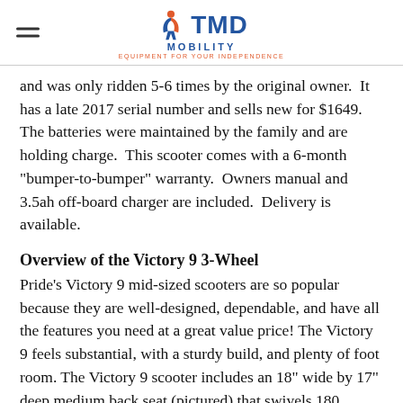TMD MOBILITY — EQUIPMENT FOR YOUR INDEPENDENCE
and was only ridden 5-6 times by the original owner.  It has a late 2017 serial number and sells new for $1649.  The batteries were maintained by the family and are holding charge.  This scooter comes with a 6-month "bumper-to-bumper" warranty.  Owners manual and 3.5ah off-board charger are included.  Delivery is available.
Overview of the Victory 9 3-Wheel
Pride's Victory 9 mid-sized scooters are so popular because they are well-designed, dependable, and have all the features you need at a great value price! The Victory 9 feels substantial, with a sturdy build, and plenty of foot room. The Victory 9 scooter includes an 18" wide by 17" deep medium back seat (pictured) that swivels 180 degrees, and slides forward and back like an automobile seat would. Designed for easy transport,